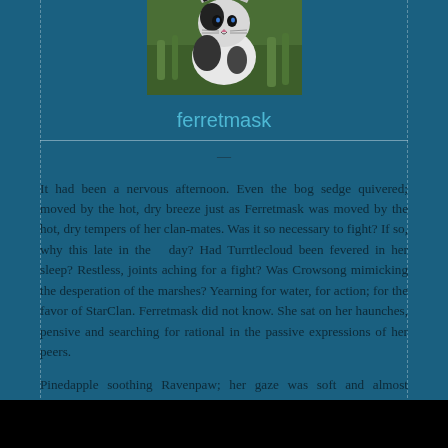[Figure (photo): A black and white cat photographed outdoors among green grass/plants.]
ferretmask
It had been a nervous afternoon. Even the bog sedge quivered; moved by the hot, dry breeze just as Ferretmask was moved by the hot, dry tempers of her clan-mates. Was it so necessary to fight? If so, why this late in the  day? Had Turrtlecloud been fevered in her sleep? Restless, joints aching for a fight? Was Crowsong mimicking the desperation of the marshes? Yearning for water, for action; for the favor of StarClan. Ferretmask did not know. She sat on her haunches, pensive and searching for rational in the passive expressions of her peers.
Pinedapple soothing Ravenpaw; her gaze was soft and almost opaline. Bluetuft, painted with humble cheer. Dontclaw, Jaguarpaw, and Badgerclaw bantering among